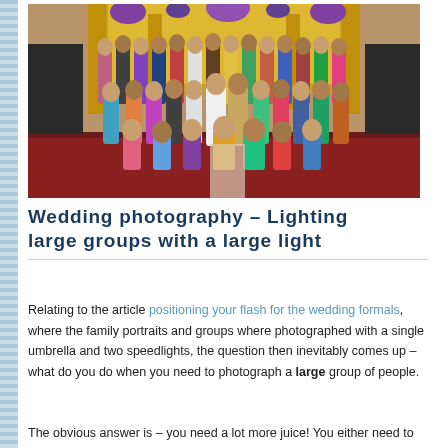[Figure (photo): Large group photo of people at an Indian wedding, gathered in a decorated banquet hall. People wearing colorful traditional Indian attire and Western formal wear, posing and waving for the camera.]
Wedding photography – Lighting large groups with a large light
Relating to the article positioning your flash for the wedding formals, where the family portraits and groups where photographed with a single umbrella and two speedlights, the question then inevitably comes up – what do you do when you need to photograph a large group of people.
The obvious answer is – you need a lot more juice! You either need to add more flashguns, or use a more powerful unit